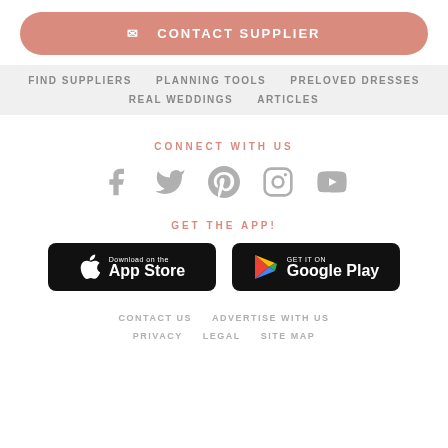✉ CONTACT SUPPLIER
FIND SUPPLIERS   PLANNING TOOLS   PRELOVED DRESSES   REAL WEDDINGS   ARTICLES
CONNECT WITH US
[Figure (infographic): Social media icons: Facebook, Twitter, Pinterest, Instagram, YouTube]
GET THE APP!
[Figure (infographic): App Store and Google Play download buttons]
CONTACT US   ADVERTISE WITH US   PRIVACY   LEGAL   SITE MAP